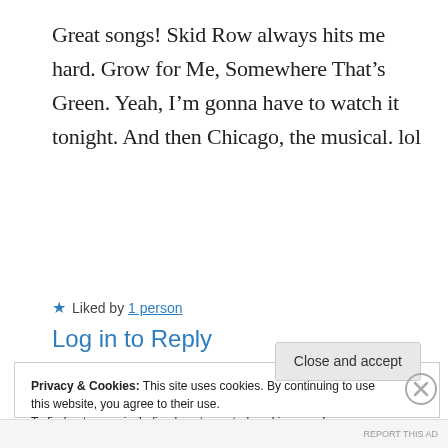Great songs! Skid Row always hits me hard. Grow for Me, Somewhere That’s Green. Yeah, I’m gonna have to watch it tonight. And then Chicago, the musical. lol
★ Liked by 1 person
Log in to Reply
Privacy & Cookies: This site uses cookies. By continuing to use this website, you agree to their use.
To find out more, including how to control cookies, see here: Cookie Policy
Close and accept